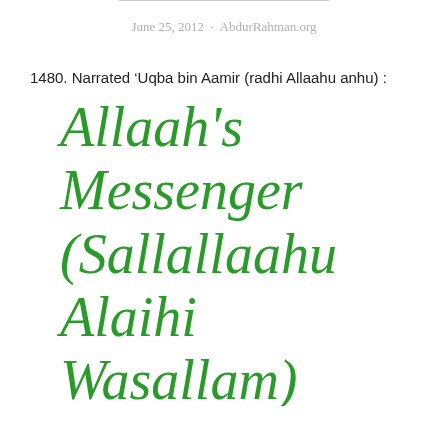June 25, 2012 · AbdurRahman.org
1480. Narrated 'Uqba bin Aamir (radhi Allaahu anhu) :
Allaah's Messenger (Sallallaahu Alaihi Wasallam) offered the funeral prayers of the martyrs of Uhud